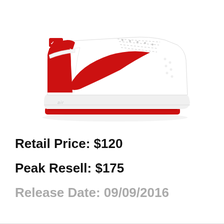[Figure (photo): Nike Air Force 1 Low sneaker in white leather with red Swoosh logo, red heel tab, and red outsole, shown from the side profile against a white background.]
Retail Price: $120
Peak Resell: $175
Release Date: 09/09/2016